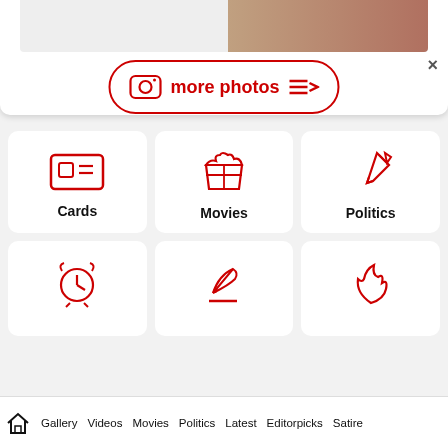[Figure (screenshot): Top banner with photo strip and 'more photos' button with Instagram-style icon, and close (×) button]
[Figure (infographic): Category grid: Cards (ticket icon), Movies (popcorn icon), Politics (pen nib icon)]
[Figure (infographic): Category grid second row: alarm clock icon, writing pen icon, flame icon (partially visible)]
Gallery   Videos   Movies   Politics   Latest   Editorpicks   Satire